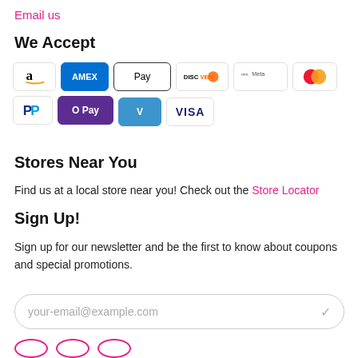Email us
We Accept
[Figure (other): Payment method icons: Amazon, Amex, Apple Pay, Discover, Meta, Mastercard, PayPal, OPay, Venmo, Visa]
Stores Near You
Find us at a local store near you! Check out the Store Locator
Sign Up!
Sign up for our newsletter and be the first to know about coupons and special promotions.
your-email@example.com